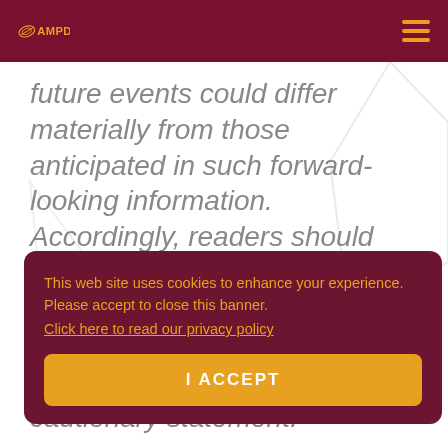AMPD
future events could differ materially from those anticipated in such forward-looking information. Accordingly, readers should not place undue reliance on forward-looking information. AMPD does not undertake to update or revise any
This web site uses cookies to enhance your experience. Please accept to close this banner. Click here to read our privacy policy
I ACCEPT
cautionary statement.